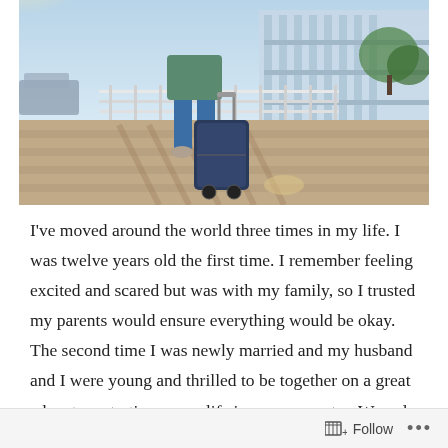[Figure (photo): A person walking away from camera pulling a large dark wheeled suitcase along a paved outdoor walkway, wearing jeans and sneakers, with a modern glass building and railing visible in the background under bright sunshine.]
I've moved around the world three times in my life. I was twelve years old the first time. I remember feeling excited and scared but was with my family, so I trusted my parents would ensure everything would be okay. The second time I was newly married and my husband and I were young and thrilled to be together on a great adventure starting a new life in a new country. We only
Follow ...